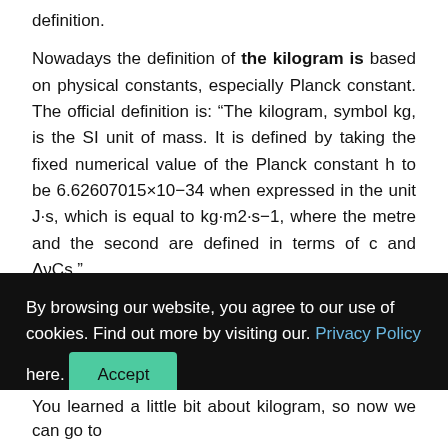definition.
Nowadays the definition of the kilogram is based on physical constants, especially Planck constant. The official definition is: “The kilogram, symbol kg, is the SI unit of mass. It is defined by taking the fixed numerical value of the Planck constant h to be 6.62607015×10−34 when expressed in the unit J·s, which is equal to kg·m2·s−1, where the metre and the second are defined in terms of c and ΔνCs.”
By browsing our website, you agree to our use of cookies. Find out more by visiting our. Privacy Policy here. Accept
You learned a little bit about kilogram, so now we can go to